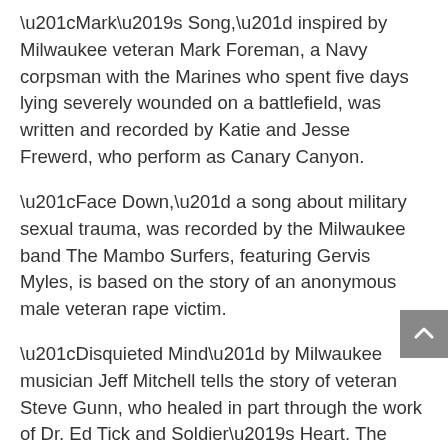“Mark’s Song,” inspired by Milwaukee veteran Mark Foreman, a Navy corpsman with the Marines who spent five days lying severely wounded on a battlefield, was written and recorded by Katie and Jesse Frewerd, who perform as Canary Canyon.
“Face Down,” a song about military sexual trauma, was recorded by the Milwaukee band The Mambo Surfers, featuring Gervis Myles, is based on the story of an anonymous male veteran rape victim.
“Disquieted Mind” by Milwaukee musician Jeff Mitchell tells the story of veteran Steve Gunn, who healed in part through the work of Dr. Ed Tick and Soldier’s Heart. The song is a touching commentary on the need for healing from moral injury.
“Never Give Up,” written by Karen Lopez in collaboration with Milwaukee veteran Richard “Breezy”